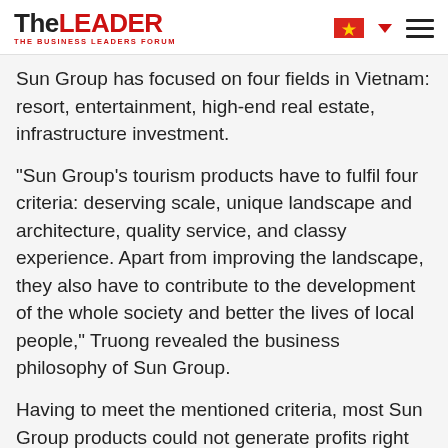TheLEADER — THE BUSINESS LEADERS FORUM
Sun Group has focused on four fields in Vietnam: resort, entertainment, high-end real estate, infrastructure investment.
"Sun Group's tourism products have to fulfil four criteria: deserving scale, unique landscape and architecture, quality service, and classy experience. Apart from improving the landscape, they also have to contribute to the development of the whole society and better the lives of local people," Truong revealed the business philosophy of Sun Group.
Having to meet the mentioned criteria, most Sun Group products could not generate profits right away. But this giant did not worry a bit. They believed that